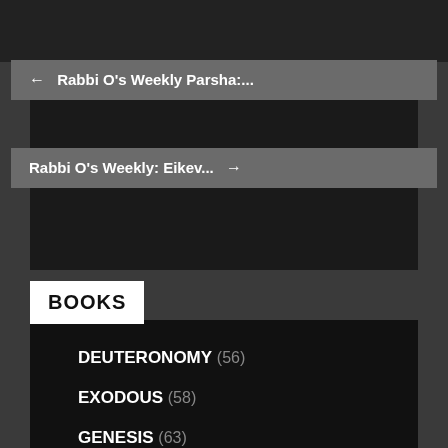[Figure (screenshot): Dark top bar area at the top of the page]
← Rabbi O's Weekly Parsha:...
Rabbi O's Weekly: Eikev... →
BOOKS
DEUTERONOMY (56)
EXODOUS (58)
GENESIS (63)
LEVITICUS (55)
NUMBERS (55)